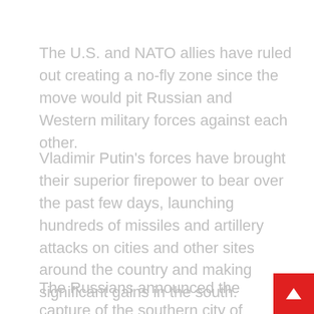The U.S. and NATO allies have ruled out creating a no-fly zone since the move would pit Russian and Western military forces against each other.
Vladimir Putin's forces have brought their superior firepower to bear over the past few days, launching hundreds of missiles and artillery attacks on cities and other sites around the country and making significant gains in the south.
The Russians announced the capture of the southern city of Kherson, a vital Black Sea port of 280,000, and local Ukrainian officials confirmed the takeover of the government headquarters there, making it the first major city to fall since th…